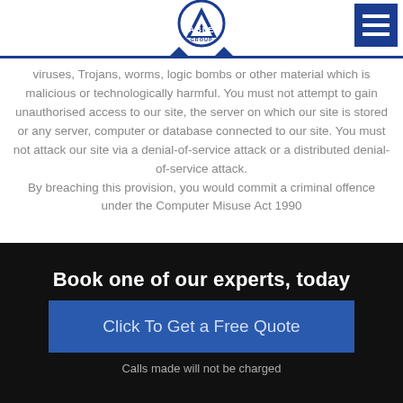Able Group logo and navigation
viruses, Trojans, worms, logic bombs or other material which is malicious or technologically harmful. You must not attempt to gain unauthorised access to our site, the server on which our site is stored or any server, computer or database connected to our site. You must not attack our site via a denial-of-service attack or a distributed denial-of-service attack.

By breaching this provision, you would commit a criminal offence under the Computer Misuse Act 1990
Book one of our experts, today
Click To Get a Free Quote
Calls made will not be charged